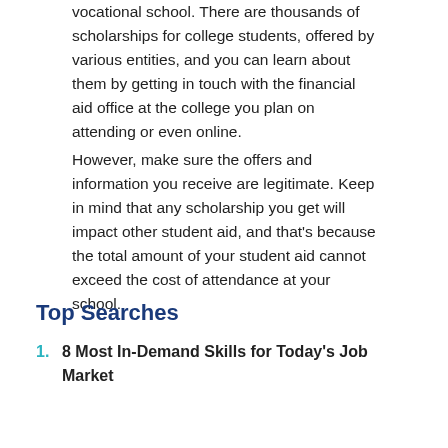vocational school. There are thousands of scholarships for college students, offered by various entities, and you can learn about them by getting in touch with the financial aid office at the college you plan on attending or even online.
However, make sure the offers and information you receive are legitimate. Keep in mind that any scholarship you get will impact other student aid, and that's because the total amount of your student aid cannot exceed the cost of attendance at your school.
Top Searches
8 Most In-Demand Skills for Today's Job Market